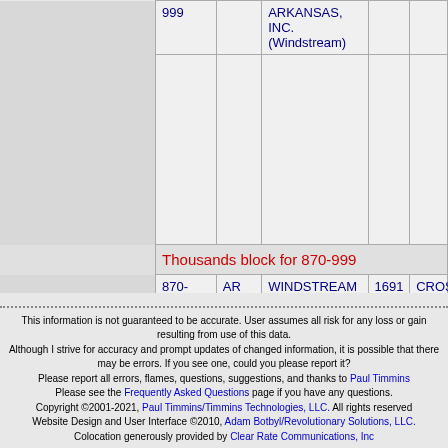|  | Number | ST | Name | ID | ... |
| --- | --- | --- | --- | --- | --- |
|  | 999 |  | ARKANSAS, INC. (Windstream) |  |  |
| Thousands block for 870-999 |  |  |  |  |  |
|  | 870-999-9 | AR | WINDSTREAM ARKANSAS, INC. (Windstream) | 1691 | CROSS |
This information is not guaranteed to be accurate. User assumes all risk for any loss or gain resulting from use of this data.
Although I strive for accuracy and prompt updates of changed information, it is possible that there may be errors. If you see one, could you please report it?
Please report all errors, flames, questions, suggestions, and thanks to Paul Timmins
Please see the Frequently Asked Questions page if you have any questions.
Copyright ©2001-2021, Paul Timmins/Timmins Technologies, LLC. All rights reserved
Website Design and User Interface ©2010, Adam Botbyl/Revolutionary Solutions, LLC.
Colocation generously provided by Clear Rate Communications, Inc